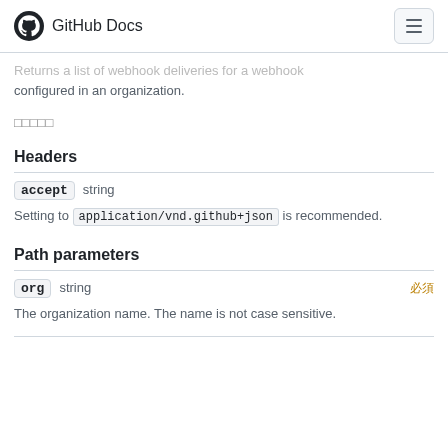GitHub Docs
Returns a list of webhook deliveries for a webhook configured in an organization.
□□□□□
Headers
accept   string
Setting to application/vnd.github+json is recommended.
Path parameters
org   string   Required
The organization name. The name is not case sensitive.